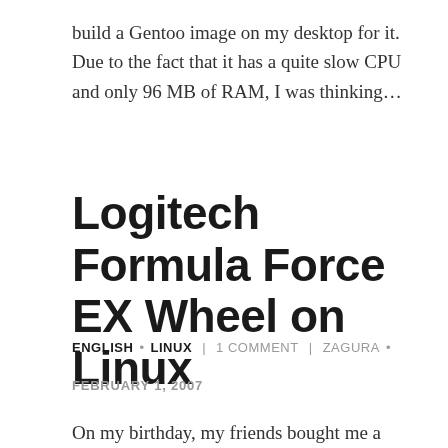build a Gentoo image on my desktop for it. Due to the fact that it has a quite slow CPU and only 96 MB of RAM, I was thinking...
Logitech Formula Force EX Wheel on Linux
ENGLISH • LINUX | 1 COMMENT | ZAGURA •
FEBRUARY 1, 2007
On my birthday, my friends bought me a Logitech Formula Force EX Feedback Wheel. After playing with it...